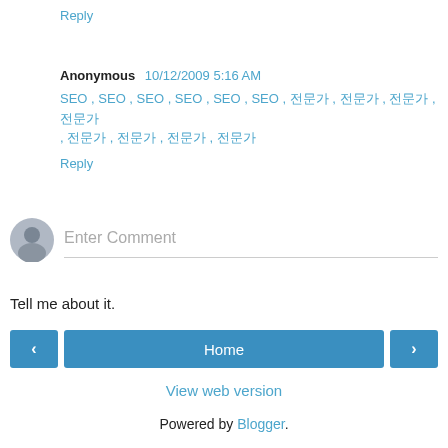Reply
Anonymous 10/12/2009 5:16 AM
SEO , SEO , SEO , SEO , SEO , SEO , 검색엔진최적화 , 검색엔진최적화 , 검색엔진최적화 , 검색엔진최적화 , 검색엔진최적화 , 검색엔진최적화 , 검색엔진최적화 , 검색엔진최적화
Reply
Enter Comment
Tell me about it.
Home
View web version
Powered by Blogger.